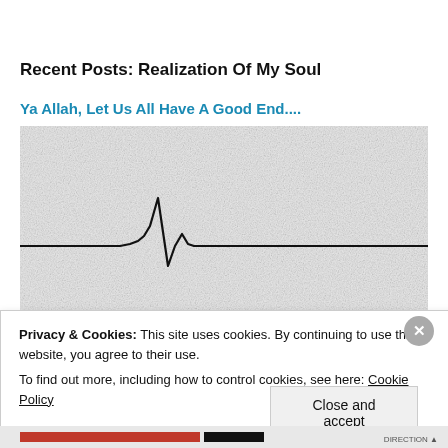Recent Posts: Realization Of My Soul
Ya Allah, Let Us All Have A Good End....
[Figure (photo): A grainy, speckled background image (black and white noise texture) with a heartbeat/ECG line drawn across the middle of the image. The line shows a flatline, then a spike (QRS complex), then returns to flatline.]
Privacy & Cookies: This site uses cookies. By continuing to use this website, you agree to their use.
To find out more, including how to control cookies, see here: Cookie Policy
Close and accept